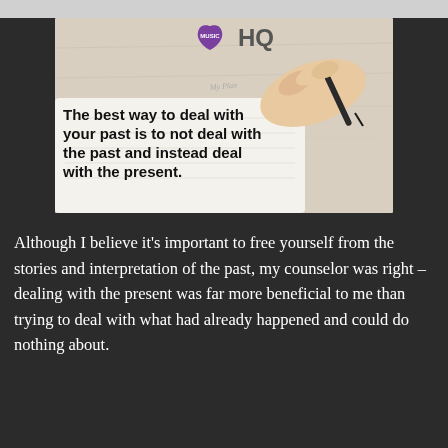[Figure (illustration): Blog post header image with 'Music HQ' logo at top center (guitar pick icon in purple with 'MUSIC' text + 'HQ' in grey), a background showing a hand writing in a notebook with a pen, text overlay reading 'The best way to deal with your past is to not deal with the past and instead deal with the present.' in bold black text]
Although I believe it's important to free yourself from the stories and interpretation of the past, my counselor was right – dealing with the present was far more beneficial to me than trying to deal with what had already happened and could do nothing about.